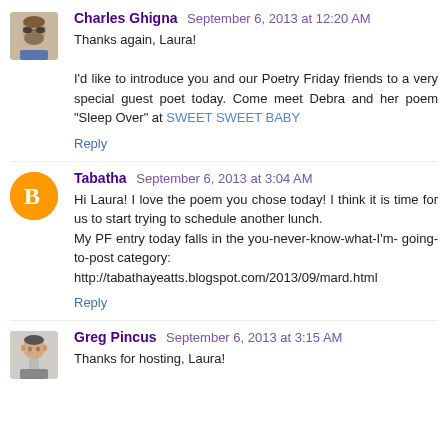Charles Ghigna  September 6, 2013 at 12:20 AM
Thanks again, Laura!

I'd like to introduce you and our Poetry Friday friends to a very special guest poet today. Come meet Debra and her poem "Sleep Over" at SWEET SWEET BABY
Reply
Tabatha  September 6, 2013 at 3:04 AM
Hi Laura! I love the poem you chose today! I think it is time for us to start trying to schedule another lunch.
My PF entry today falls in the you-never-know-what-I'm-going-to-post category:
http://tabathayeatts.blogspot.com/2013/09/mard.html
Reply
Greg Pincus  September 6, 2013 at 3:15 AM
Thanks for hosting, Laura!